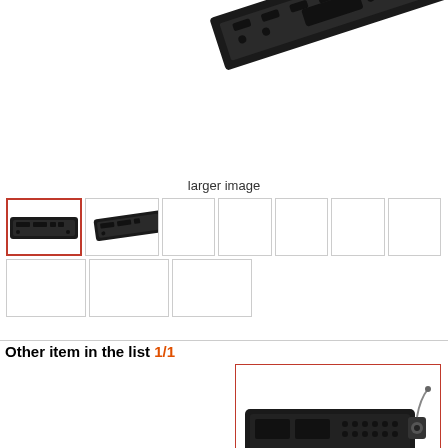[Figure (photo): Main product image: black license plate frame/holder shown at an angle, top portion visible]
larger image
[Figure (photo): Thumbnail grid of product images: first thumbnail (active/selected) shows black license plate frame, second shows similar frame at angle, remaining thumbnails are empty placeholders]
Other item in the list 1/1
[Figure (photo): Related product image: black license plate frame with camera/cable attached, shown with red border]